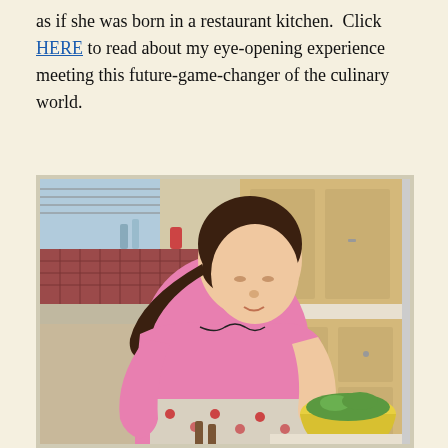as if she was born in a restaurant kitchen.  Click HERE to read about my eye-opening experience meeting this future-game-changer of the culinary world.
[Figure (photo): A young girl in a pink shirt and apron with a cupcake pattern cooking in a kitchen, mixing a salad in a yellow bowl using tongs. Kitchen cabinets and backsplash tiles visible in background.]